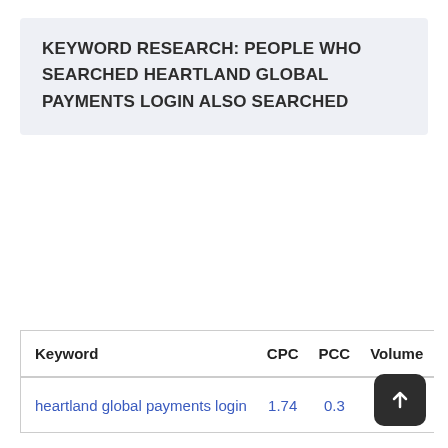KEYWORD RESEARCH: PEOPLE WHO SEARCHED HEARTLAND GLOBAL PAYMENTS LOGIN ALSO SEARCHED
| Keyword | CPC | PCC | Volume | S |
| --- | --- | --- | --- | --- |
| heartland global payments login | 1.74 | 0.3 | 5375 | ● |